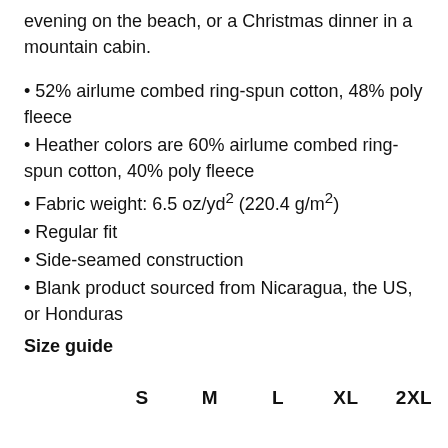evening on the beach, or a Christmas dinner in a mountain cabin.
52% airlume combed ring-spun cotton, 48% poly fleece
Heather colors are 60% airlume combed ring-spun cotton, 40% poly fleece
Fabric weight: 6.5 oz/yd² (220.4 g/m²)
Regular fit
Side-seamed construction
Blank product sourced from Nicaragua, the US, or Honduras
Size guide
| S | M | L | XL | 2XL |
| --- | --- | --- | --- | --- |